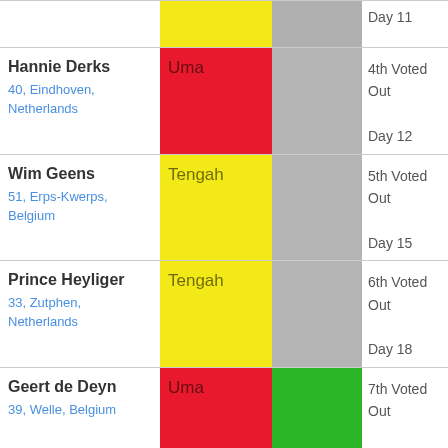| Contestant | Tribe | Tribe2 | Status |
| --- | --- | --- | --- |
|  |  |  | Day 11 |
| Hannie Derks
40, Eindhoven, Netherlands | Uma |  | 4th Voted Out
Day 12 |
| Wim Geens
51, Erps-Kwerps, Belgium | Tengah |  | 5th Voted Out
Day 15 |
| Prince Heyliger
33, Zutphen, Netherlands | Tengah |  | 6th Voted Out
Day 18 |
| Geert de Deyn
39, Welle, Belgium | Uma |  | 7th Voted Out
1st jury member
Day 24 |